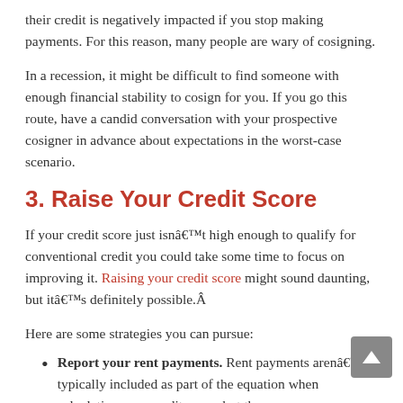their credit is negatively impacted if you stop making payments. For this reason, many people are wary of cosigning.
In a recession, it might be difficult to find someone with enough financial stability to cosign for you. If you go this route, have a candid conversation with your prospective cosigner in advance about expectations in the worst-case scenario.
3. Raise Your Credit Score
If your credit score just isn't high enough to qualify for conventional credit you could take some time to focus on improving it. Raising your credit score might sound daunting, but it's definitely possible.Â
Here are some strategies you can pursue:
Report your rent payments. Rent payments aren't typically included as part of the equation when calculating your credit score, but they can